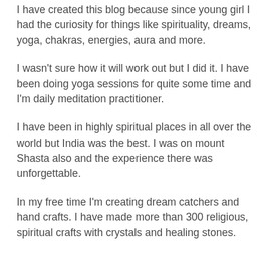I have created this blog because since young girl I had the curiosity for things like spirituality, dreams, yoga, chakras, energies, aura and more.
I wasn't sure how it will work out but I did it. I have been doing yoga sessions for quite some time and I'm daily meditation practitioner.
I have been in highly spiritual places in all over the world but India was the best. I was on mount Shasta also and the experience there was unforgettable.
In my free time I'm creating dream catchers and hand crafts. I have made more than 300 religious, spiritual crafts with crystals and healing stones.